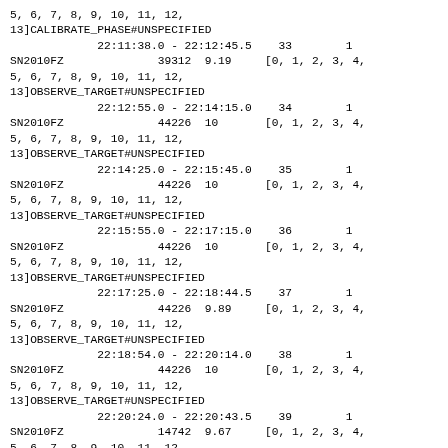5, 6, 7, 8, 9, 10, 11, 12,
13]CALIBRATE_PHASE#UNSPECIFIED
             22:11:38.0 - 22:12:45.5    33        1
SN2010FZ              39312  9.19     [0, 1, 2, 3, 4,
5, 6, 7, 8, 9, 10, 11, 12,
13]OBSERVE_TARGET#UNSPECIFIED
             22:12:55.0 - 22:14:15.0    34        1
SN2010FZ              44226  10       [0, 1, 2, 3, 4,
5, 6, 7, 8, 9, 10, 11, 12,
13]OBSERVE_TARGET#UNSPECIFIED
             22:14:25.0 - 22:15:45.0    35        1
SN2010FZ              44226  10       [0, 1, 2, 3, 4,
5, 6, 7, 8, 9, 10, 11, 12,
13]OBSERVE_TARGET#UNSPECIFIED
             22:15:55.0 - 22:17:15.0    36        1
SN2010FZ              44226  10       [0, 1, 2, 3, 4,
5, 6, 7, 8, 9, 10, 11, 12,
13]OBSERVE_TARGET#UNSPECIFIED
             22:17:25.0 - 22:18:44.5    37        1
SN2010FZ              44226  9.89     [0, 1, 2, 3, 4,
5, 6, 7, 8, 9, 10, 11, 12,
13]OBSERVE_TARGET#UNSPECIFIED
             22:18:54.0 - 22:20:14.0    38        1
SN2010FZ              44226  10       [0, 1, 2, 3, 4,
5, 6, 7, 8, 9, 10, 11, 12,
13]OBSERVE_TARGET#UNSPECIFIED
             22:20:24.0 - 22:20:43.5    39        1
SN2010FZ              14742  9.67     [0, 1, 2, 3, 4,
5, 6, 7, 8, 9, 10, 11, 12,
13]OBSERVE_TARGET#UNSPECIFIED
             22:21:06.0 - 22:22:13.5    40        0
J0925+0019            38584  9.15     [0, 1, 2, 3, 4,